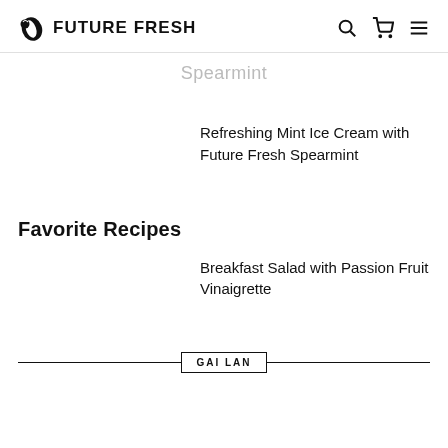FUTURE FRESH
Spearmint
Refreshing Mint Ice Cream with Future Fresh Spearmint
Favorite Recipes
Breakfast Salad with Passion Fruit Vinaigrette
GAI LAN